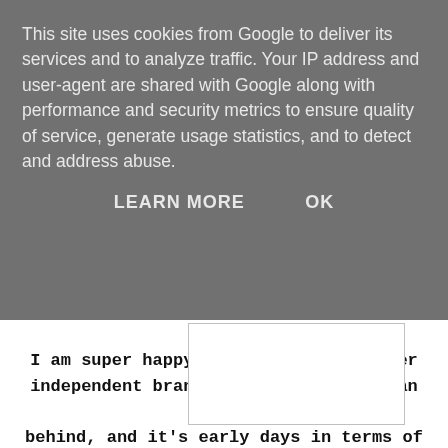This site uses cookies from Google to deliver its services and to analyze traffic. Your IP address and user-agent are shared with Google along with performance and security metrics to ensure quality of service, generate usage statistics, and to detect and address abuse.
LEARN MORE    OK
[Figure (other): White rectangular area with a border, partially visible, showing a blank or partially loaded image region]
I am super happy that there is another independent brand out there that I can get behind, and it's early days in terms of fit, and the size range that they offer. There are